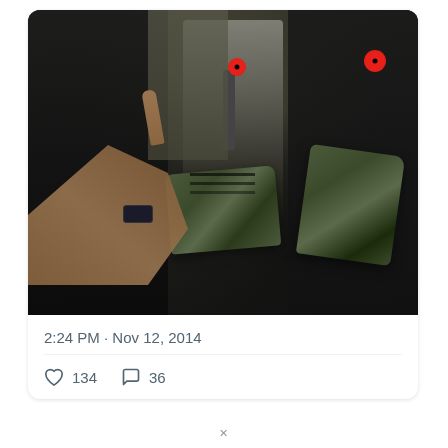[Figure (photo): Three people holding camouflage-patterned high-top sneakers. Two individuals wear red poppy badges. The person on the left is reaching in from the side holding a shoe, the center person holds a shoe and wears a suit with tie and poppy, and the right person holds another shoe and wears a leather jacket with poppy.]
2:24 PM · Nov 12, 2014
134  36